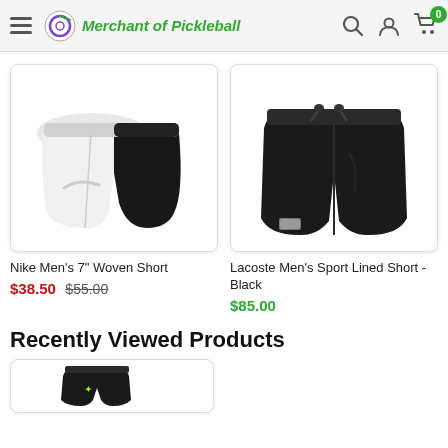Merchant of Pickleball
[Figure (photo): Nike Men's 7" Woven Short — white and black athletic shorts]
[Figure (photo): Lacoste Men's Sport Lined Short - Black — black athletic shorts]
Nike Men's 7" Woven Short
$38.50 $55.00
Lacoste Men's Sport Lined Short - Black
$85.00
Recently Viewed Products
[Figure (photo): Recently viewed product thumbnail — dark colored shorts]